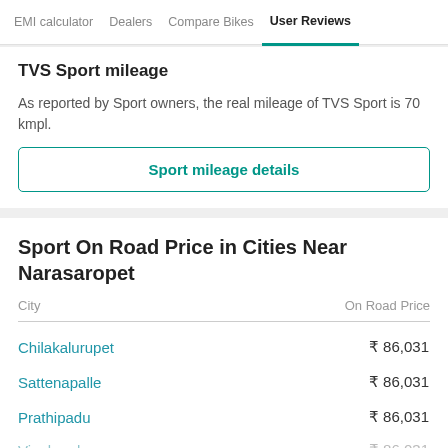EMI calculator | Dealers | Compare Bikes | User Reviews
TVS Sport mileage
As reported by Sport owners, the real mileage of TVS Sport is 70 kmpl.
Sport mileage details
Sport On Road Price in Cities Near Narasaropet
| City | On Road Price |
| --- | --- |
| Chilakalurupet | ₹ 86,031 |
| Sattenapalle | ₹ 86,031 |
| Prathipadu | ₹ 86,031 |
| Vinukonda | ₹ 86,031 |